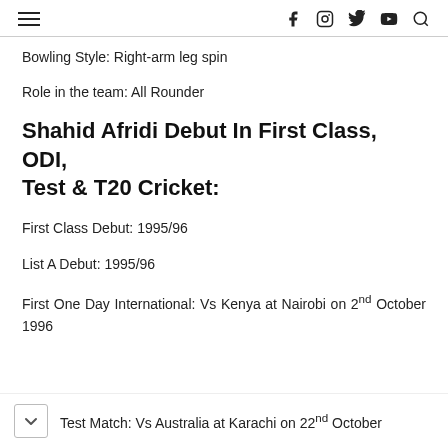≡   f  Instagram  Twitter  YouTube  Search
Bowling Style: Right-arm leg spin
Role in the team: All Rounder
Shahid Afridi Debut In First Class, ODI, Test & T20 Cricket:
First Class Debut: 1995/96
List A Debut: 1995/96
First One Day International: Vs Kenya at Nairobi on 2nd October 1996
Test Match: Vs Australia at Karachi on 22nd October